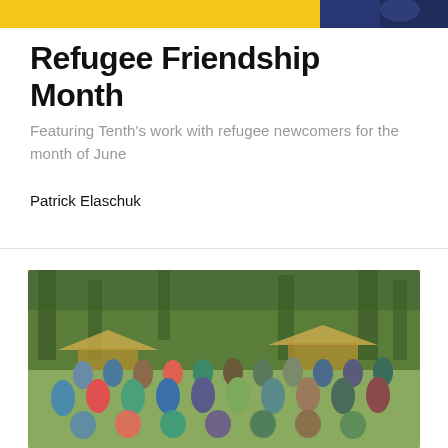[Figure (photo): Top banner split: left side gold/yellow bar, right side partial photo of person]
Refugee Friendship Month
Featuring Tenth's work with refugee newcomers for the month of June
Patrick Elaschuk
[Figure (photo): Group photo of approximately 30 people posing outdoors in a forested area with thatched hut structures in the background. People are smiling and posing in rows.]